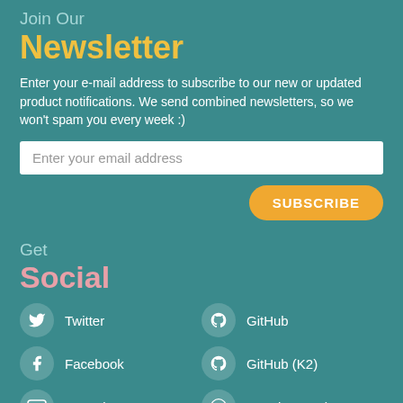Join Our
Newsletter
Enter your e-mail address to subscribe to our new or updated product notifications. We send combined newsletters, so we won't spam you every week :)
Enter your email address
SUBSCRIBE
Get
Social
Twitter
Facebook
YouTube
GitHub
GitHub (K2)
Speaker Deck